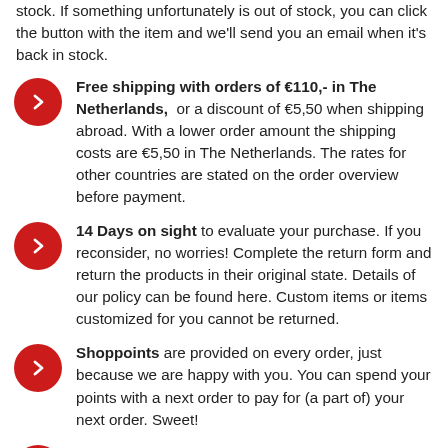stock. If something unfortunately is out of stock, you can click the button with the item and we'll send you an email when it's back in stock.
Free shipping with orders of €110,- in The Netherlands, or a discount of €5,50 when shipping abroad. With a lower order amount the shipping costs are €5,50 in The Netherlands. The rates for other countries are stated on the order overview before payment.
14 Days on sight to evaluate your purchase. If you reconsider, no worries! Complete the return form and return the products in their original state. Details of our policy can be found here. Custom items or items customized for you cannot be returned.
Shoppoints are provided on every order, just because we are happy with you. You can spend your points with a next order to pay for (a part of) your next order. Sweet!
Custom options. We offer as a standard a couple